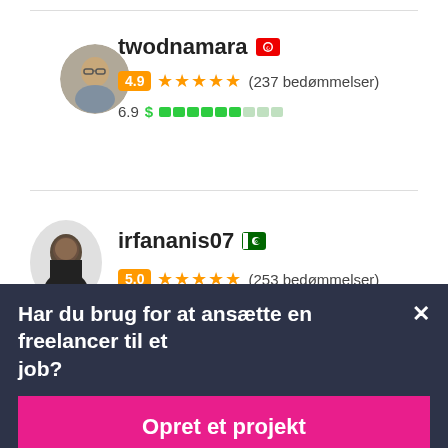[Figure (photo): Profile avatar of twodnamara, older man in blue checked shirt]
twodnamara 🟥 (Tunisia flag icon)
4.9 ★★★★★ (237 bedømmelser)
6.9 $ ████████░░░ (earnings bar)
[Figure (photo): Profile avatar of irfananis07, young man in dark clothing]
irfananis07 🟩 (Pakistan flag icon)
5.0 ★★★★★ (253 bedømmelser)
Har du brug for at ansætte en freelancer til et job?
Opret et projekt